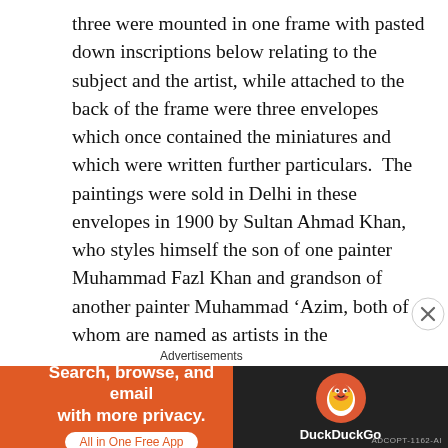three were mounted in one frame with pasted down inscriptions below relating to the subject and the artist, while attached to the back of the frame were three envelopes which once contained the miniatures and which were written further particulars.  The paintings were sold in Delhi in these envelopes in 1900 by Sultan Ahmad Khan, who styles himself the son of one painter Muhammad Fazl Khan and grandson of another painter Muhammad ‘Azim, both of whom are named as artists in the inscriptions.  The purchaser must have put them into their present gilt frame and fortunately also preserved the various inscriptions and attestations.  All three are supposed to be portraits of some of the wives of the Mughal Emperor Akbar II (r. 1806-37).  For a more correct appreciation of who they might be, we rely on that
Advertisements
[Figure (other): DuckDuckGo advertisement banner: orange background on left with text 'Search, browse, and email with more privacy. All in One Free App', dark background on right with DuckDuckGo duck logo and 'DuckDuckGo' text.]